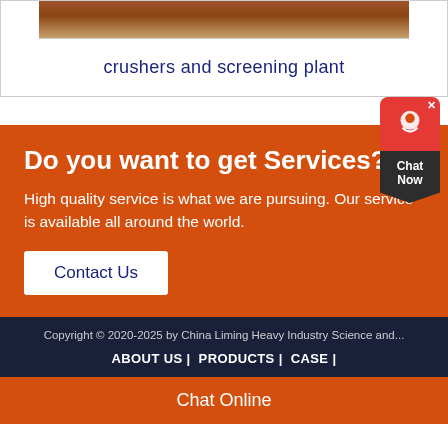[Figure (photo): Partial image of what appears to be crusher equipment, shown as a brown/sandy colored surface at top of page]
crushers and screening plant
Do you want to get Services?
High quality service is what we are pursuing. Our service is available all around the world.
Contact Us
Copyright © 2020-2025 by China Liming Heavy Industry Science and...
ABOUT US |  PRODUCTS |  CASE |
Chat Online